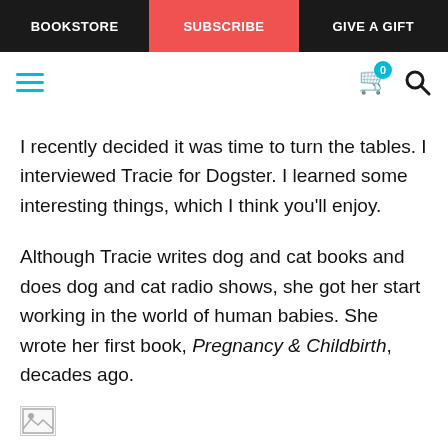BOOKSTORE | SUBSCRIBE | GIVE A GIFT
I recently decided it was time to turn the tables. I interviewed Tracie for Dogster. I learned some interesting things, which I think you'll enjoy.
Although Tracie writes dog and cat books and does dog and cat radio shows, she got her start working in the world of human babies. She wrote her first book, Pregnancy & Childbirth, decades ago.
[Figure (other): Broken image placeholder icon in bottom-left area]